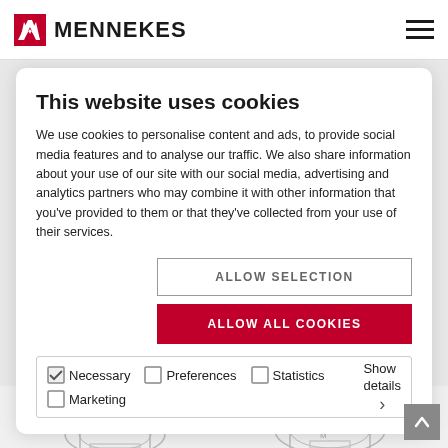MENNEKES
This website uses cookies
We use cookies to personalise content and ads, to provide social media features and to analyse our traffic. We also share information about your use of our site with our social media, advertising and analytics partners who may combine it with other information that you've provided to them or that they've collected from your use of their services.
ALLOW SELECTION
ALLOW ALL COOKIES
Necessary  Preferences  Statistics  Marketing  Show details